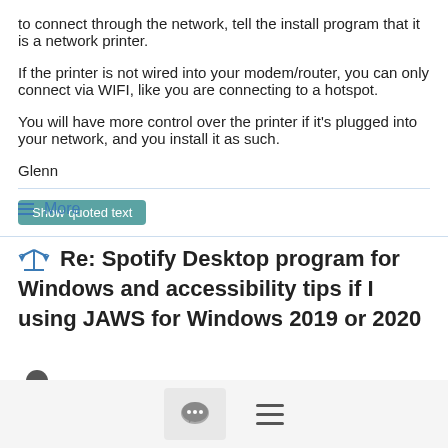to connect through the network, tell the install program that it is a network printer.
If the printer is not wired into your modem/router, you can only connect via WIFI, like you are connecting to a hotspot.
You will have more control over the printer if it's plugged into your network, and you install it as such.
Glenn
Show quoted text
More
Re: Spotify Desktop program for Windows and accessibility tips if I using JAWS for Windows 2019 or 2020
JM Casey  11/10/19
Yeah, not sure about this programme specifically, but it sounds